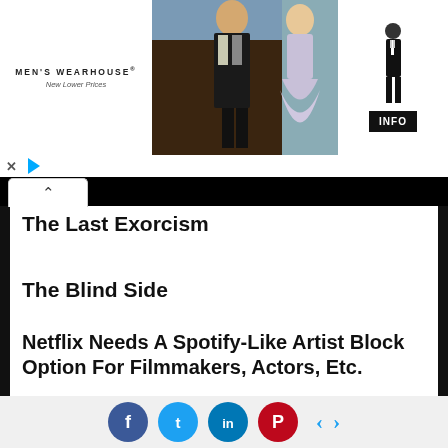[Figure (photo): Men's Wearhouse advertisement banner showing a couple in formal wear (man in suit, woman in gown) and a man in tuxedo with INFO button]
The Last Exorcism
The Blind Side
Netflix Needs A Spotify-Like Artist Block Option For Filmmakers, Actors, Etc.
Green Zone
[Figure (infographic): Social sharing bar with Facebook, Twitter, LinkedIn, Pinterest icons and navigation arrows]